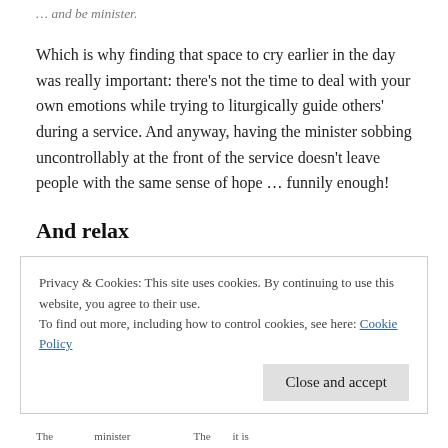... and be minister.
Which is why finding that space to cry earlier in the day was really important: there’s not the time to deal with your own emotions while trying to liturgically guide others’ during a service. And anyway, having the minister sobbing uncontrollably at the front of the service doesn’t leave people with the same sense of hope … funnily enough!
And relax
Privacy & Cookies: This site uses cookies. By continuing to use this website, you agree to their use.
To find out more, including how to control cookies, see here: Cookie Policy
Close and accept
The... minister... ... The... it is...